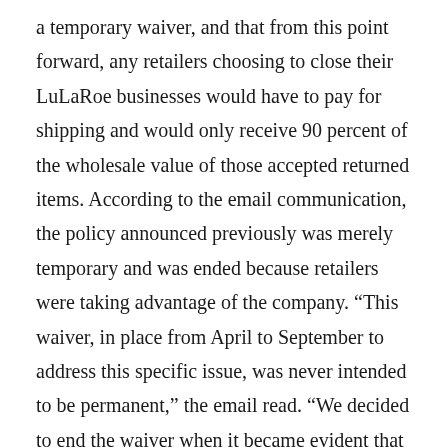a temporary waiver, and that from this point forward, any retailers choosing to close their LuLaRoe businesses would have to pay for shipping and would only receive 90 percent of the wholesale value of those accepted returned items. According to the email communication, the policy announced previously was merely temporary and was ended because retailers were taking advantage of the company. “This waiver, in place from April to September to address this specific issue, was never intended to be permanent,” the email read. “We decided to end the waiver when it became evident that a good number of Retailers were abusing the program by returning product in extremely poor condition and providing inaccurate claims, as well as the Retailers using it as temporary solution to struggles in their business.”